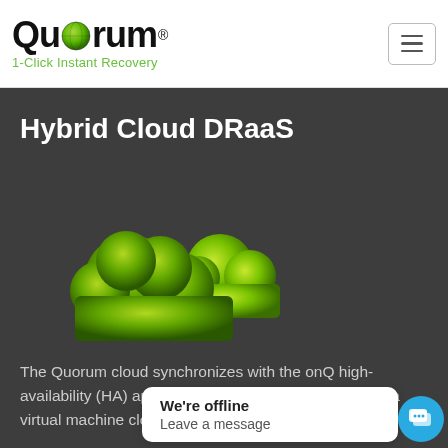[Figure (logo): Quorum logo with green globe in 'o', tagline '1-Click Instant Recovery' in green]
[Figure (other): Hamburger menu button (three horizontal lines) in a rounded rectangle]
Hybrid Cloud DRaaS
[Figure (illustration): Two green cloud icons overlapping — a larger dark green cloud in front and a smaller lime green cloud behind/above]
The Quorum cloud synchronizes with the onQ high-availability (HA) appliance after each update, creating a virtual machine clone in the cloud.
We're offline
Leave a message